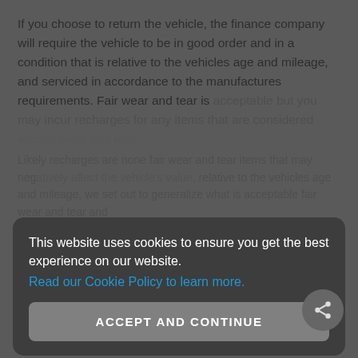If you choose to return the vehicle, the finance company will require the vehicle to be in good order and in a condition that is relative to the vehicles age and mileage, and serviced in accordance to the manufactures requirements. Fair wear and tear is acceptable but you may incur recharges for any items that are considered excess wear and tear.
Likely recharges are none fair wear and tear items that may negatively affect the vehicle's value, relative to the vehicles age and mileage, we set out to generalize what is acceptable fair wear and tear and
[Figure (screenshot): Cookie consent modal overlay with dark semi-transparent background. Modal has text: 'This website uses cookies to ensure you get the best experience on our website.' followed by a blue link 'Read our Cookie Policy to learn more.' and a grey 'ACCEPT AND CONTINUE' button.]
Vehicle return terms and conditions will be detailed on the relevant documentation appertaining to yours or your company's agreement.
Help and Guidance on Returning Your Vehicle
The car will be inspected at the end of the contract for